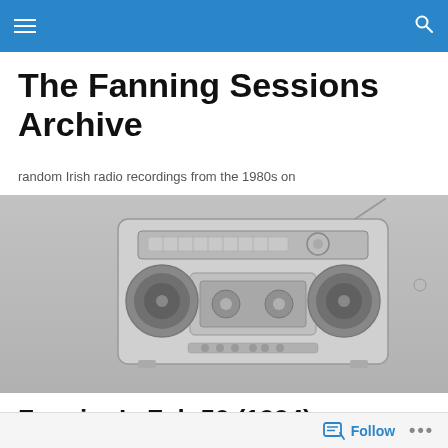The Fanning Sessions Archive — navigation bar
The Fanning Sessions Archive
random Irish radio recordings from the 1980s on
[Figure (photo): Black and white photograph of a vintage boombox/cassette radio player on a textured wall background]
Fanning's Fab 50 (1994)
Follow  •••